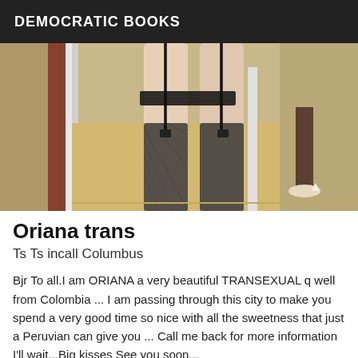DEMOCRATIC BOOKS
[Figure (photo): Close-up photo of a person's legs wearing black fishnet stockings with suspender straps, standing near a white door frame on a wooden floor. A reflection or second person in heels is visible in the background.]
Oriana trans
Ts Ts incall Columbus
Bjr To all.I am ORIANA a very beautiful TRANSEXUAL q well from Colombia ... I am passing through this city to make you spend a very good time so nice with all the sweetness that just a Peruvian can give you ... Call me back for more information I'll wait...Big kisses See you soon...